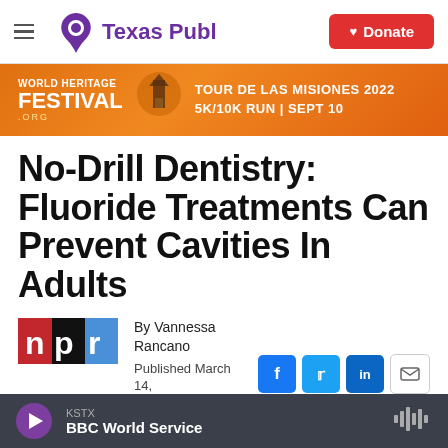Texas Public Radio | Donate
[Figure (other): World Heritage Festival advertisement banner - Tour de Las Misiones 2022 5K/10K Run Sept 10]
No-Drill Dentistry: Fluoride Treatments Can Prevent Cavities In Adults
[Figure (logo): NPR logo - red, black, and blue squares with letters n, p, r]
By Vannessa Rancano
Published March 14, 2016 at 3:59 AM CDT
KSTX BBC World Service